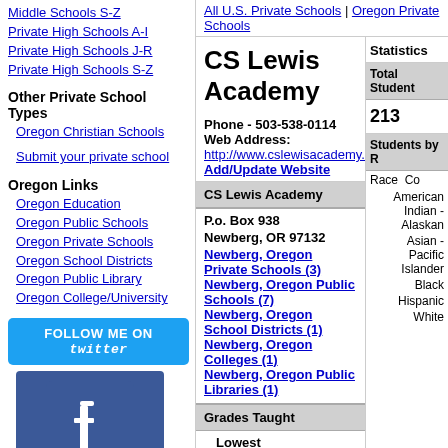Middle Schools S-Z
Private High Schools A-I
Private High Schools J-R
Private High Schools S-Z
Other Private School Types
Oregon Christian Schools
Submit your private school
Oregon Links
Oregon Education
Oregon Public Schools
Oregon Private Schools
Oregon School Districts
Oregon Public Library
Oregon College/University
All U.S. Private Schools | Oregon Private Schools
CS Lewis Academy
Phone - 503-538-0114
Web Address:
http://www.cslewisacademy.com
Add/Update Website
| CS Lewis Academy |
| --- |
| P.o. Box 938
Newberg, OR 97132 |
| Newberg, Oregon Private Schools (3) |
| Newberg, Oregon Public Schools (7) |
| Newberg, Oregon School Districts (1) |
| Newberg, Oregon Colleges (1) |
| Newberg, Oregon Public Libraries (1) |
| Grades Taught |
| --- |
| Lowest Grade Pre-Kindergarten Taught: |
Statistics
Total Student
213
Students by R
Race  Co
American Indian - Alaskan
Asian - Pacific Islander
Black
Hispanic
White